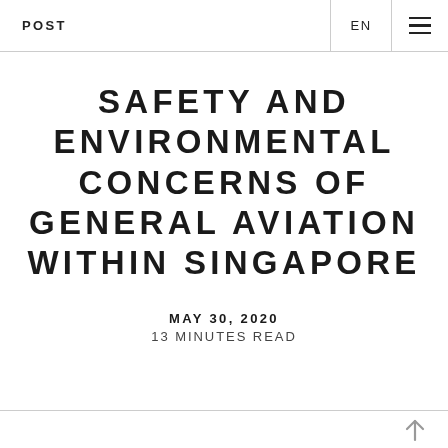POST | EN | ☰
SAFETY AND ENVIRONMENTAL CONCERNS OF GENERAL AVIATION WITHIN SINGAPORE
MAY 30, 2020
13 MINUTES READ
↑